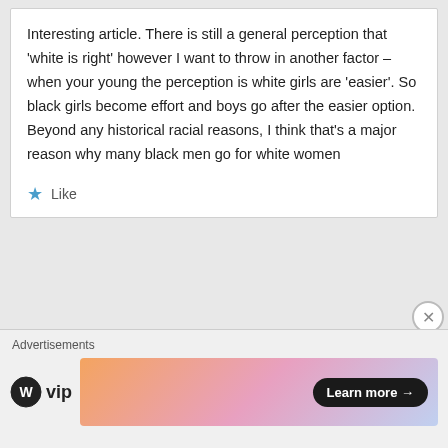Interesting article. There is still a general perception that 'white is right' however I want to throw in another factor – when your young the perception is white girls are 'easier'. So black girls become effort and boys go after the easier option. Beyond any historical racial reasons, I think that's a major reason why many black men go for white women
★ Like
J, Carthy
February 16, 2014 at 09:48
Advertisements
[Figure (logo): WordPress VIP logo and an advertisement banner with 'Learn more →' button]